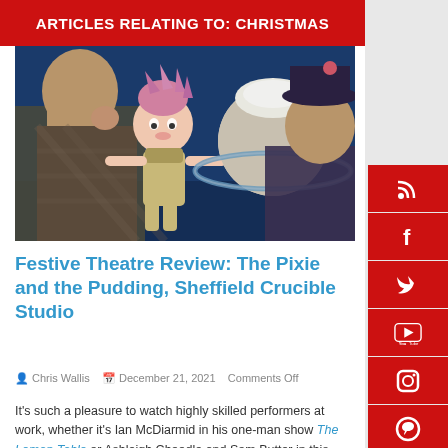ARTICLES RELATING TO: CHRISTMAS
[Figure (photo): Two puppeteers performing with puppets against a blue background. One puppet is a pink-haired pixie character in overalls, and the other appears to be a round planet-like puppet.]
Festive Theatre Review: The Pixie and the Pudding, Sheffield Crucible Studio
Chris Wallis   December 21, 2021   Comments Off
It's such a pleasure to watch highly skilled performers at work, whether it's Ian McDiarmid in his one-man show The Lemon Table or Ashleigh Choodle and Sam Butter in this...